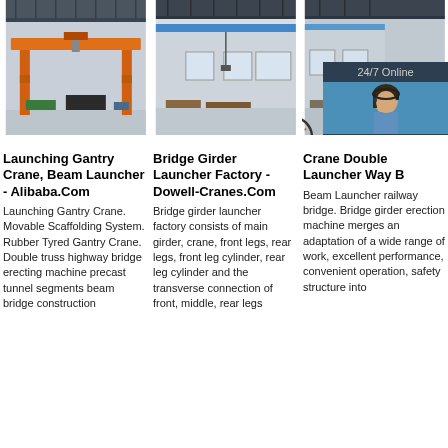[Figure (photo): Orange gantry/launching crane inside an industrial warehouse - photo 1]
[Figure (photo): Bridge girder launcher / overhead crane inside a warehouse - photo 2]
[Figure (photo): Crane interior photo with 24/7 online customer service overlay and woman with headset]
Launching Gantry Crane, Beam Launcher - Alibaba.Com
Launching Gantry Crane. Movable Scaffolding System. Rubber Tyred Gantry Crane. Double truss highway bridge erecting machine precast tunnel segments beam bridge construction
Bridge Girder Launcher Factory - Dowell-Cranes.Com
Bridge girder launcher factory consists of main girder, crane, front legs, rear legs, front leg cylinder, rear leg cylinder and the transverse connection of front, middle, rear legs
Crane Double Launcher Way B
Beam Launcher railway bridge. Bridge girder erection machine merges an adaptation of a wide range of work, excellent performance, convenient operation, safety structure into